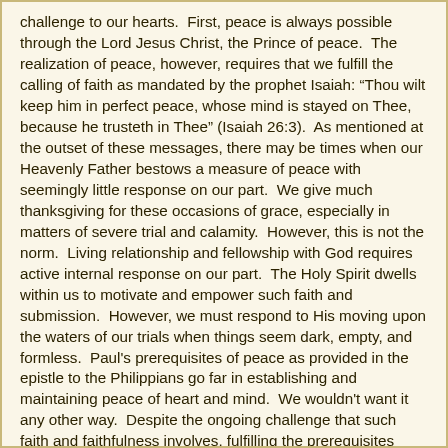challenge to our hearts.  First, peace is always possible through the Lord Jesus Christ, the Prince of peace.  The realization of peace, however, requires that we fulfill the calling of faith as mandated by the prophet Isaiah: "Thou wilt keep him in perfect peace, whose mind is stayed on Thee, because he trusteth in Thee" (Isaiah 26:3).  As mentioned at the outset of these messages, there may be times when our Heavenly Father bestows a measure of peace with seemingly little response on our part.  We give much thanksgiving for these occasions of grace, especially in matters of severe trial and calamity.  However, this is not the norm.  Living relationship and fellowship with God requires active internal response on our part.  The Holy Spirit dwells within us to motivate and empower such faith and submission.  However, we must respond to His moving upon the waters of our trials when things seem dark, empty, and formless.  Paul's prerequisites of peace as provided in the epistle to the Philippians go far in establishing and maintaining peace of heart and mind.  We wouldn't want it any other way.  Despite the ongoing challenge that such faith and faithfulness involves, fulfilling the prerequisites leads us to consciously walk with the Life of our lives, and